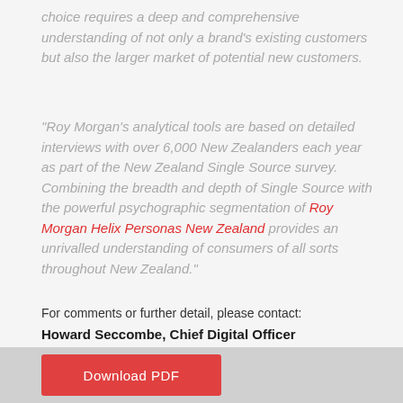choice requires a deep and comprehensive understanding of not only a brand's existing customers but also the larger market of potential new customers.
“Roy Morgan’s analytical tools are based on detailed interviews with over 6,000 New Zealanders each year as part of the New Zealand Single Source survey. Combining the breadth and depth of Single Source with the powerful psychographic segmentation of Roy Morgan Helix Personas New Zealand provides an unrivalled understanding of consumers of all sorts throughout New Zealand.”
For comments or further detail, please contact:
Howard Seccombe, Chief Digital Officer
Office: +61 (03) 9223 2427
Howard.Seccombe@roymorgan.com
Download PDF